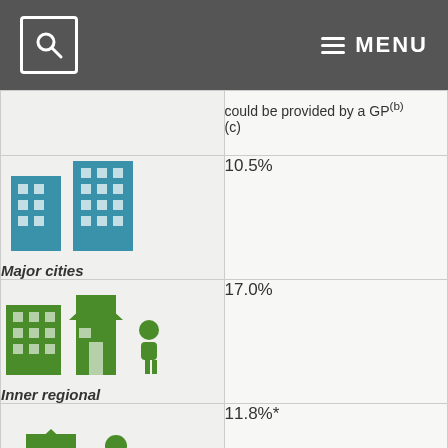MENU
could be provided by a GP(b) (c)
[Figure (illustration): Blue icon of city buildings (major cities)]
Major cities
10.5%
[Figure (illustration): Green icon of suburban buildings and house (inner regional)]
Inner regional
17.0%
[Figure (illustration): Green icon of house with person figures (outer regional and remote)]
Outer regional and remote
11.8%*